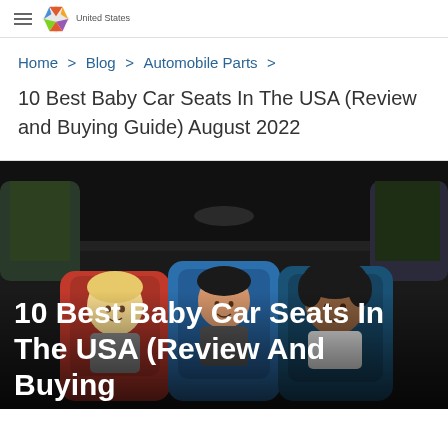Home > Blog > Automobile Parts
Home > Blog > Automobile Parts >
10 Best Baby Car Seats In The USA (Review and Buying Guide) August 2022
[Figure (photo): Three children sitting in car seats in the back of a car, viewed from behind the front seats. The leftmost child is in a red car seat, the middle child is in a blue car seat, the rightmost child is in a blue car seat, all smiling.]
10 Best Baby Car Seats In The USA (Review And Buying